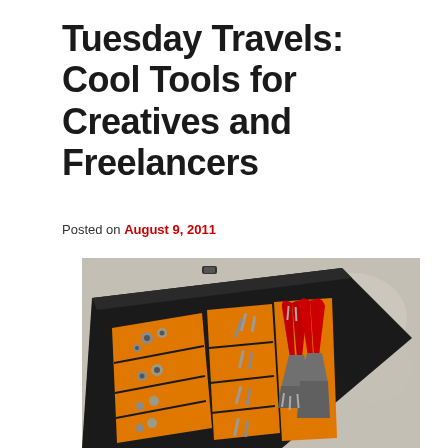Tuesday Travels: Cool Tools for Creatives and Freelancers
Posted on August 9, 2011
[Figure (photo): An open black plastic toolbox with orange compartmented organizer trays inside, filled with nuts, bolts, screws, pliers with red handles, and various metal hardware, photographed from above on a concrete surface.]